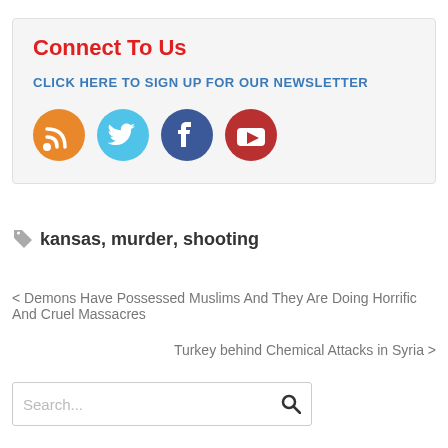Connect To Us
CLICK HERE TO SIGN UP FOR OUR NEWSLETTER
[Figure (infographic): Four social media icon circles: RSS (orange), Twitter (light blue), Facebook (dark blue), YouTube (dark red)]
kansas, murder, shooting
< Demons Have Possessed Muslims And They Are Doing Horrific And Cruel Massacres
Turkey behind Chemical Attacks in Syria >
Search...